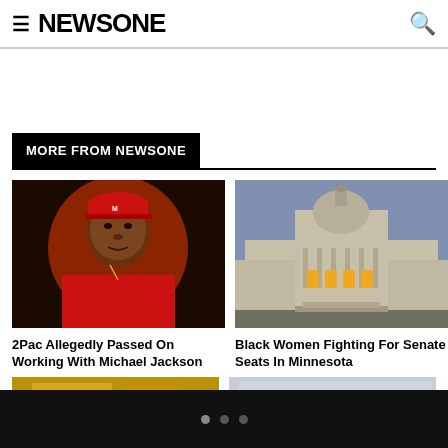NEWSONE
MORE FROM NEWSONE
[Figure (photo): Photo of 2Pac wearing red outfit and red cap against dark background]
2Pac Allegedly Passed On Working With Michael Jackson
[Figure (photo): Photo of a large government capitol building at dusk with illuminated windows]
Black Women Fighting For Senate Seats In Minnesota